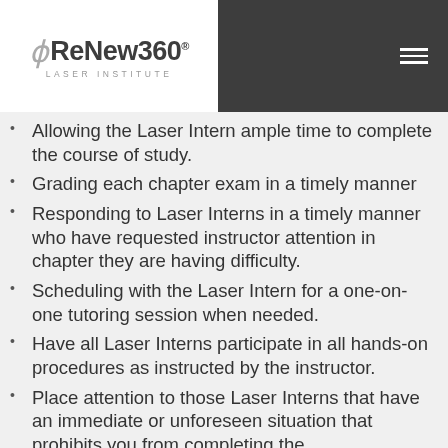ReNew360 LASER INSTITUTE
Allowing the Laser Intern ample time to complete the course of study.
Grading each chapter exam in a timely manner
Responding to Laser Interns in a timely manner who have requested instructor attention in chapter they are having difficulty.
Scheduling with the Laser Intern for a one-on-one tutoring session when needed.
Have all Laser Interns participate in all hands-on procedures as instructed by the instructor.
Place attention to those Laser Interns that have an immediate or unforeseen situation that prohibits you from completing the